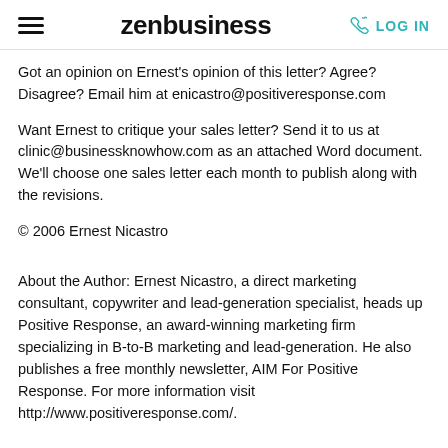zenbusiness | LOG IN
Got an opinion on Ernest's opinion of this letter? Agree? Disagree? Email him at enicastro@positiveresponse.com
Want Ernest to critique your sales letter? Send it to us at clinic@businessknowhow.com as an attached Word document. We'll choose one sales letter each month to publish along with the revisions.
© 2006 Ernest Nicastro
About the Author: Ernest Nicastro, a direct marketing consultant, copywriter and lead-generation specialist, heads up Positive Response, an award-winning marketing firm specializing in B-to-B marketing and lead-generation. He also publishes a free monthly newsletter, AIM For Positive Response. For more information visit http://www.positiveresponse.com/.